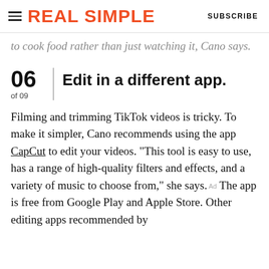REAL SIMPLE | SUBSCRIBE
to cook food rather than just watching it, Cano says.
06 of 09 | Edit in a different app.
Filming and trimming TikTok videos is tricky. To make it simpler, Cano recommends using the app CapCut to edit your videos. "This tool is easy to use, has a range of high-quality filters and effects, and a variety of music to choose from," she says. The app is free from Google Play and Apple Store. Other editing apps recommended by